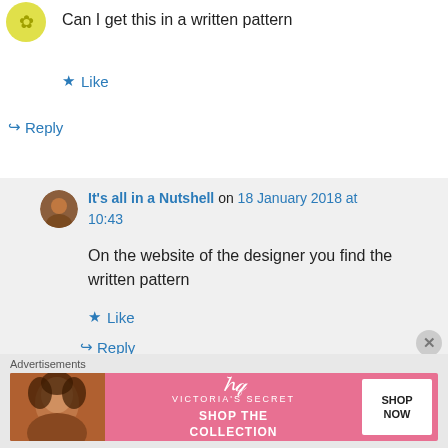[Figure (illustration): Partially visible yellow/green star or floral avatar icon at top left]
Can I get this in a written pattern
★ Like
↪ Reply
It's all in a Nutshell on 18 January 2018 at 10:43
On the website of the designer you find the written pattern
★ Like
↪ Reply
Advertisements
[Figure (illustration): Victoria's Secret advertisement banner with woman photo, VS logo, 'SHOP THE COLLECTION' text, and 'SHOP NOW' button]